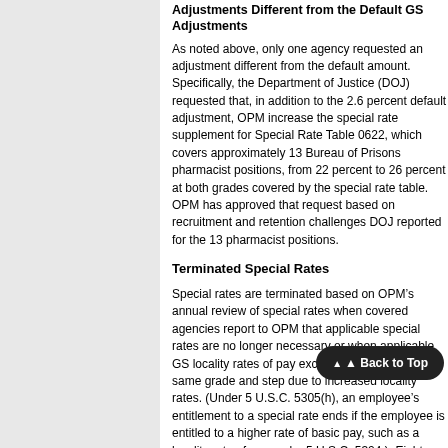Adjustments Different from the Default GS Adjustments
As noted above, only one agency requested an adjustment different from the default amount.  Specifically, the Department of Justice (DOJ) requested that, in addition to the 2.6 percent default adjustment, OPM increase the special rate supplement for Special Rate Table 0622, which covers approximately 13 Bureau of Prisons pharmacist positions, from 22 percent to 26 percent at both grades covered by the special rate table.  OPM has approved that request based on recruitment and retention challenges DOJ reported for the 13 pharmacist positions.
Terminated Special Rates
Special rates are terminated based on OPM's annual review of special rates when covered agencies report to OPM that applicable special rates are no longer necessary or when applicable GS locality rates of pay exceed special rates at the same grade and step due to increased locality rates.  (Under 5 U.S.C. 5305(h), an employee's entitlement to a special rate ends if the employee is entitled to a higher rate of basic pay, such as a locality rate of pay under 5 U.S.C. 5304.)  Eight special rate tables will terminate effective